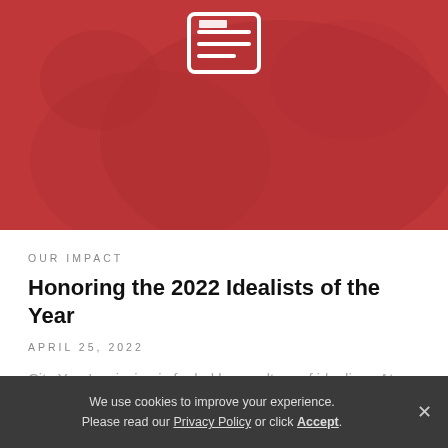[Figure (illustration): Red banner hero area with a world map silhouette overlay in darker red, and a white newspaper/article icon at the top center]
OUR IMPACT
Honoring the 2022 Idealists of the Year
APRIL 25, 2022
City Year’s mission is fueled by a culture of idealism. At City Year, we define idealism as the belief that...
Read the story
We use cookies to improve your experience. Please read our Privacy Policy or click Accept.